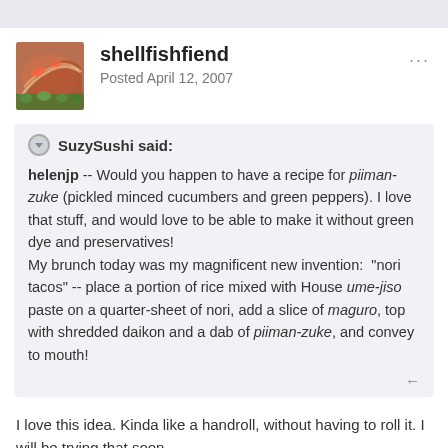shellfishfiend
Posted April 12, 2007
SuzySushi said:
helenjp -- Would you happen to have a recipe for piiman-zuke (pickled minced cucumbers and green peppers). I love that stuff, and would love to be able to make it without green dye and preservatives!
My brunch today was my magnificent new invention:  "nori tacos" -- place a portion of rice mixed with House ume-jiso paste on a quarter-sheet of nori, add a slice of maguro, top with shredded daikon and a dab of piiman-zuke, and convey to mouth!
I love this idea. Kinda like a handroll, without having to roll it. I will be trying that soon.